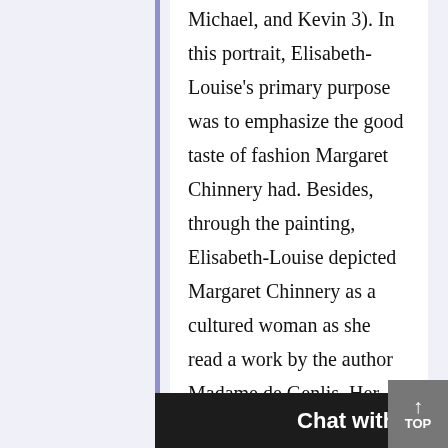Michael, and Kevin 3). In this portrait, Elisabeth-Louise's primary purpose was to emphasize the good taste of fashion Margaret Chinnery had. Besides, through the painting, Elisabeth-Louise depicted Margaret Chinnery as a cultured woman as she read a work by the author Madame de Genlis. Her description of Mrs. Chinnery as a “handsome woman with a great charm and finesse” is evident in the painting. The painting reveals [chat widget overlay] cal beauty...